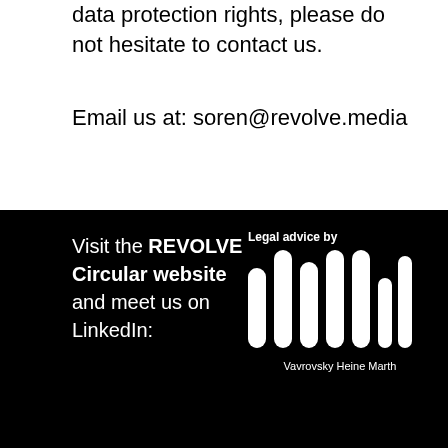data protection rights, please do not hesitate to contact us.
Email us at: soren@revolve.media
Visit the REVOLVE Circular website and meet us on LinkedIn:
[Figure (logo): Vavrovsky Heine Marth law firm logo with vertical bar marks and firm name]
Legal advice by
[Figure (logo): Twitter bird icon (white on black)]
[Figure (logo): LinkedIn 'in' icon (white on black)]